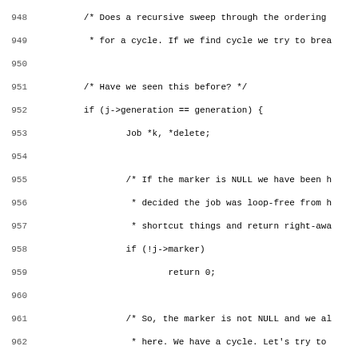[Figure (screenshot): Source code listing showing lines 948–979 of a C-like program dealing with ordering cycle detection and breaking. Code includes comments and function calls such as log_warning, log_info, and unit_matters_to_anchor.]